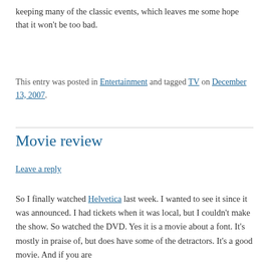keeping many of the classic events, which leaves me some hope that it won't be too bad.
This entry was posted in Entertainment and tagged TV on December 13, 2007.
Movie review
Leave a reply
So I finally watched Helvetica last week.  I wanted to see it since it was announced.  I had tickets when it was local, but I couldn't make the show.  So watched the DVD.  Yes it is a movie about a font.  It's mostly in praise of, but does have some of the detractors.  It's a good movie.  And if you are